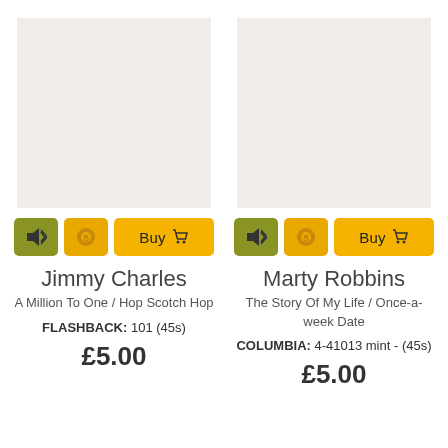[Figure (photo): Album image placeholder (light beige square) for Jimmy Charles]
Jimmy Charles
A Million To One / Hop Scotch Hop
FLASHBACK: 101 (45s)
£5.00
[Figure (photo): Album image placeholder (light beige square) for Marty Robbins]
Marty Robbins
The Story Of My Life / Once-a-week Date
COLUMBIA: 4-41013 mint - (45s)
£5.00